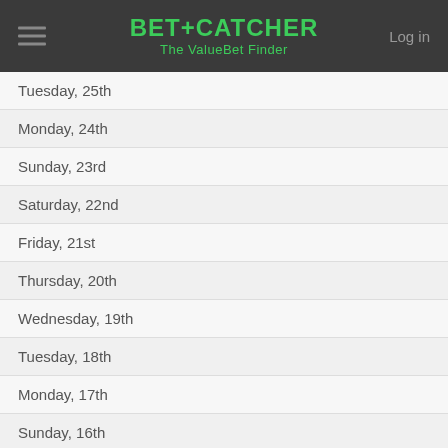BET+CATCHER The ValueBet Finder
Tuesday, 25th
Monday, 24th
Sunday, 23rd
Saturday, 22nd
Friday, 21st
Thursday, 20th
Wednesday, 19th
Tuesday, 18th
Monday, 17th
Sunday, 16th
Saturday, 15th
Friday, 14th
Thursday, 13th